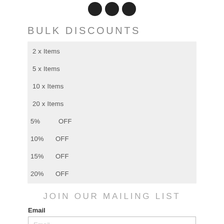[Figure (illustration): Three circular social media icons (Facebook, Instagram, and another platform) in black, centered at the top of the page.]
BULK DISCOUNTS
| 2 x Items |  |
| 5 x Items |  |
| 10 x Items |  |
| 20 x Items |  |
| 5% | OFF |
| 10% | OFF |
| 15% | OFF |
| 20% | OFF |
JOIN OUR MAILING LIST
Email
Email